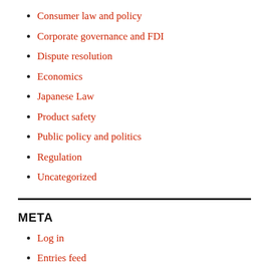Consumer law and policy
Corporate governance and FDI
Dispute resolution
Economics
Japanese Law
Product safety
Public policy and politics
Regulation
Uncategorized
META
Log in
Entries feed